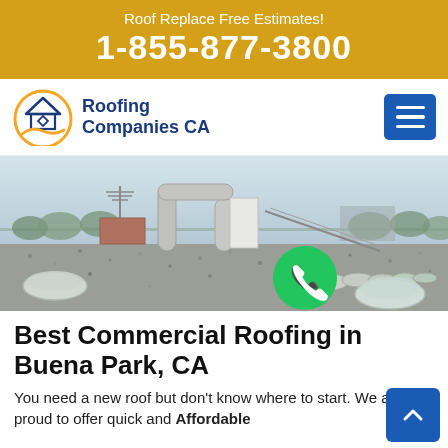Roof Replace Free Estimates! 1-855-877-3800
[Figure (logo): Roofing Companies CA logo with house icon and golden arc/wave design]
[Figure (photo): Flat commercial rooftop with gravel, dome skylights, HVAC pipe structures, antenna, and trees in background on a hazy day]
Best Commercial Roofing in Buena Park, CA
You need a new roof but don't know where to start. We are proud to offer quick and Affordable